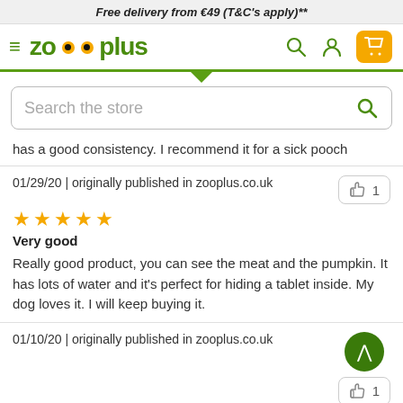Free delivery from €49 (T&C's apply)**
[Figure (screenshot): Zooplus logo navigation bar with hamburger menu, search, user and cart icons]
[Figure (screenshot): Search bar with placeholder text 'Search the store' and green search icon]
has a good consistency. I recommend it for a sick pooch
01/29/20 | originally published in zooplus.co.uk
👍 1
[Figure (other): 5 orange stars rating]
Very good
Really good product, you can see the meat and the pumpkin. It has lots of water and it's perfect for hiding a tablet inside. My dog loves it. I will keep buying it.
01/10/20 | originally published in zooplus.co.uk
👍 1
[Figure (other): 5 orange stars rating]
formidable